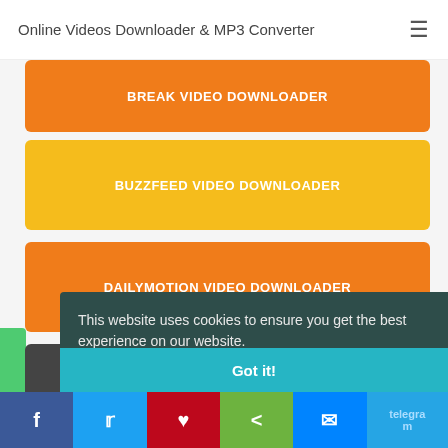Online Videos Downloader & MP3 Converter
BREAK VIDEO DOWNLOADER
BUZZFEED VIDEO DOWNLOADER
DAILYMOTION VIDEO DOWNLOADER
ESPN VIDEO DOWNLOADER
This website uses cookies to ensure you get the best experience on our website. Learn more
Got it!